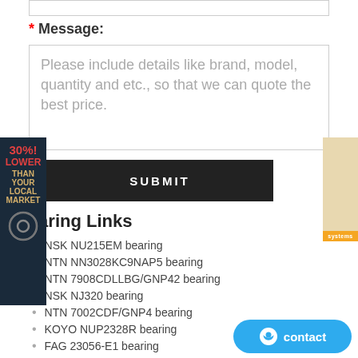* Message:
Please include details like brand, model, quantity and etc., so that we can quote the best price.
SUBMIT
Bearing Links
NSK NU215EM bearing
NTN NN3028KC9NAP5 bearing
NTN 7908CDLLBG/GNP42 bearing
NSK NJ320 bearing
NTN 7002CDF/GNP4 bearing
KOYO NUP2328R bearing
FAG 23056-E1 bearing
KOYO 22272RK bearing
IKO NA4914UU bearing
FAG 6068-M bearing